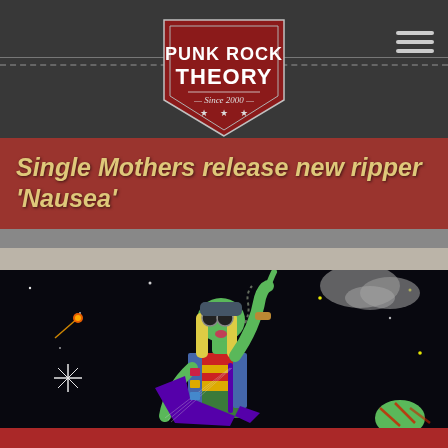PUNK ROCK THEORY — Since 2000
Single Mothers release new ripper 'Nausea'
[Figure (illustration): Cartoon illustration of a green zombie/alien punk rocker character with long blonde hair, wearing a denim vest with patches, striped shirt, goggles, and playing a purple Flying V guitar. The character is making a devil horns hand sign. Set against a dark outer space background with stars, a comet, a gray cloud, and a green planet. Another green arm is visible at the bottom right.]